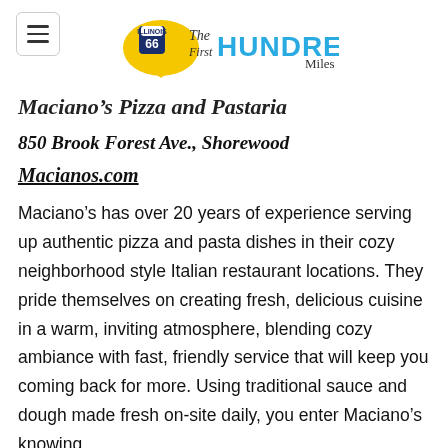The First HUNDRED Miles (Route 66 Illinois logo)
Maciano's Pizza and Pastaria
850 Brook Forest Ave., Shorewood
Macianos.com
Maciano's has over 20 years of experience serving up authentic pizza and pasta dishes in their cozy neighborhood style Italian restaurant locations. They pride themselves on creating fresh, delicious cuisine in a warm, inviting atmosphere, blending cozy ambiance with fast, friendly service that will keep you coming back for more. Using traditional sauce and dough made fresh on-site daily, you enter Maciano's knowing